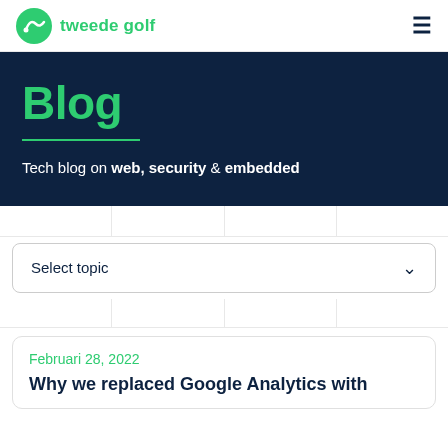tweede golf
Blog
Tech blog on web, security & embedded
Select topic
Februari 28, 2022
Why we replaced Google Analytics with